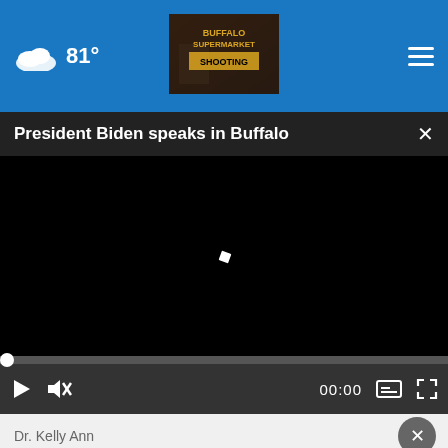81° weather icon | Buffalo Supermarket Shooting | hamburger menu
President Biden speaks in Buffalo
[Figure (screenshot): Black video player with a small white cursor/loading indicator in the center]
[Figure (screenshot): Video player controls: play button, mute button, progress bar with dot at start, time display 00:00, captions button, fullscreen button]
Dr. Kelly Ann
[Figure (infographic): AARP advertisement: green smiley face character, text 'It's not too late to take charge of your retirement. Get your top 3 tips →', Ad Council logo, AARP Real Possibilities logo, gold coin sun graphic]